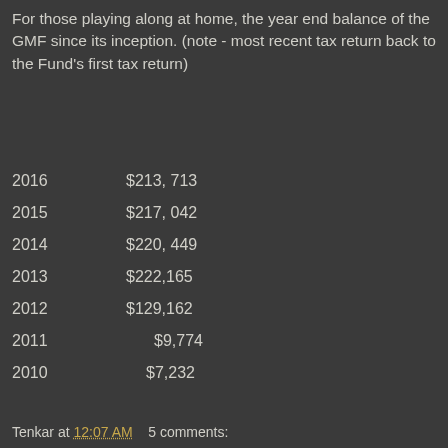For those playing along at home, the year end balance of the GMF since its inception. (note - most recent tax return back to the Fund's first tax return)
| Year | Balance |
| --- | --- |
| 2016 | $213, 713 |
| 2015 | $217, 042 |
| 2014 | $220, 449 |
| 2013 | $222,165 |
| 2012 | $129,162 |
| 2011 | $9,774 |
| 2010 | $7,232 |
Tenkar at 12:07 AM    5 comments: